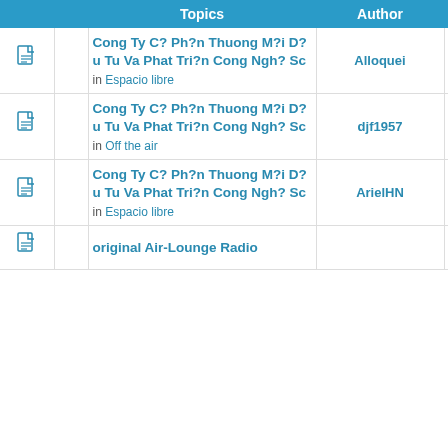|  |  | Topics | Author | Replies | Views |
| --- | --- | --- | --- | --- | --- |
| [icon] |  | Cong Ty C? Ph?n Thuong M?i D?u Tu Va Phat Tri?n Cong Ngh? Sc
in Espacio libre | Alloquei | 0 | 2049 |
| [icon] |  | Cong Ty C? Ph?n Thuong M?i D?u Tu Va Phat Tri?n Cong Ngh? Sc
in Off the air | djf1957 | 0 | 1708 |
| [icon] |  | Cong Ty C? Ph?n Thuong M?i D?u Tu Va Phat Tri?n Cong Ngh? Sc
in Espacio libre | ArielHN | 0 | 1458 |
| [icon] |  | original Air-Lounge Radio |  |  |  |